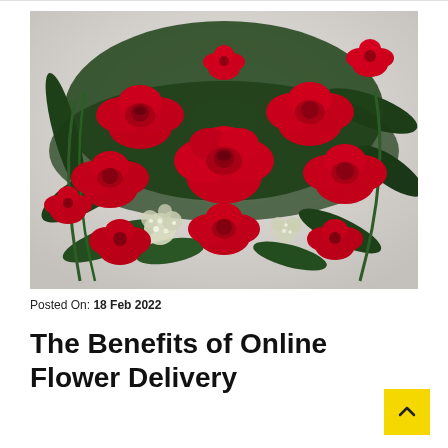[Figure (photo): A lush bouquet of vibrant red roses and smaller red flowers with dark green foliage and small white filler flowers, photographed against a light grey background.]
Posted On: 18 Feb 2022
The Benefits of Online Flower Delivery